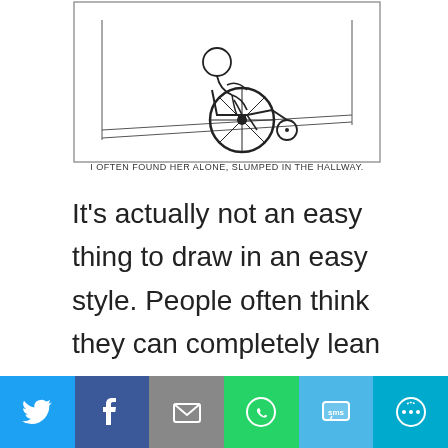[Figure (illustration): Line drawing cartoon of a person in a wheelchair slumped alone in a hallway. Caption below reads: I OFTEN FOUND HER ALONE, SLUMPED IN THE HALLWAY.]
It’s actually not an easy thing to draw in an easy style. People often think they can completely lean into an easy style and just sleepwalk their way through. It doesn’t work
[Figure (other): Social sharing bar with icons for Twitter, Facebook, Email, WhatsApp, SMS, and More.]